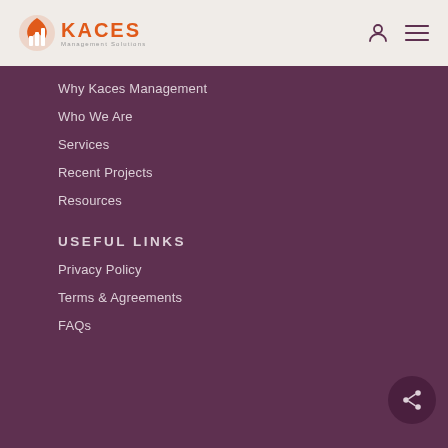[Figure (logo): KACES Management Solutions logo with orange bar chart icon]
Why Kaces Management
Who We Are
Services
Recent Projects
Resources
USEFUL LINKS
Privacy Policy
Terms & Agreements
FAQs